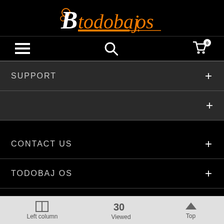[Figure (logo): Btodobajos logo in orange italic script with white B character on black background]
[Figure (screenshot): Navigation bar with hamburger menu, search icon, and shopping cart with badge showing 0]
SUPPORT +
+
CONTACT US +
TODOBAJ OS +
FOLLOW US +
[Figure (screenshot): Bottom toolbar with Left column, Viewed (30), and Top buttons]